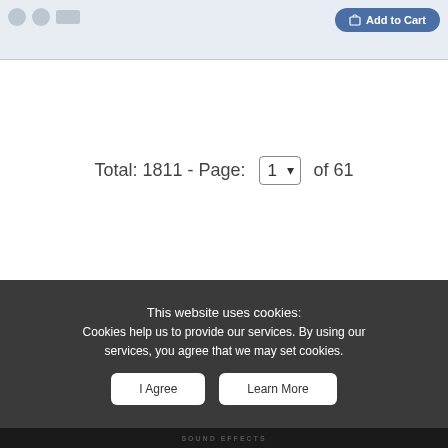[Figure (screenshot): Top navigation bar with icons and an Add to Cart button (blue rounded button)]
Total: 1811 - Page: 1 of 61
This website uses cookies:
Cookies help us to provide our services. By using our services, you agree that we may set cookies.
I Agree
Learn More
SOUND EFFECTS